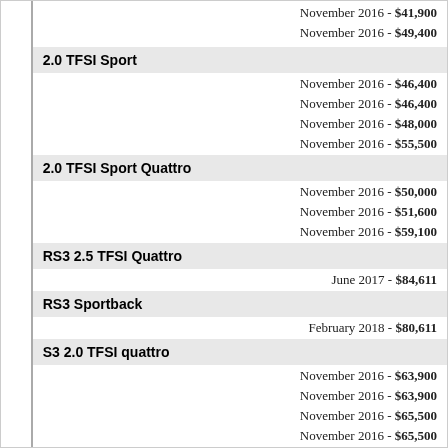November 2016 - $41,900
November 2016 - $49,400
2.0 TFSI Sport
November 2016 - $46,400
November 2016 - $46,400
November 2016 - $48,000
November 2016 - $55,500
2.0 TFSI Sport Quattro
November 2016 - $50,000
November 2016 - $51,600
November 2016 - $59,100
RS3 2.5 TFSI Quattro
June 2017 - $84,611
RS3 Sportback
February 2018 - $80,611
S3 2.0 TFSI quattro
November 2016 - $63,900
November 2016 - $63,900
November 2016 - $65,500
November 2016 - $65,500